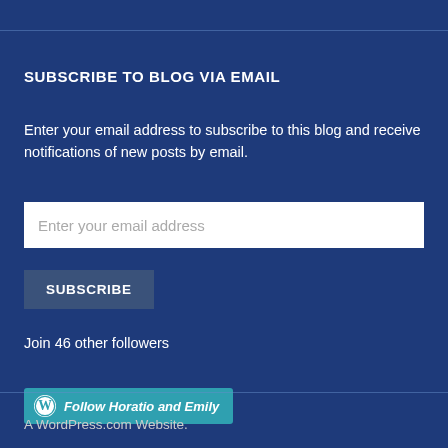SUBSCRIBE TO BLOG VIA EMAIL
Enter your email address to subscribe to this blog and receive notifications of new posts by email.
Enter your email address
SUBSCRIBE
Join 46 other followers
Follow Horatio and Emily
A WordPress.com Website.